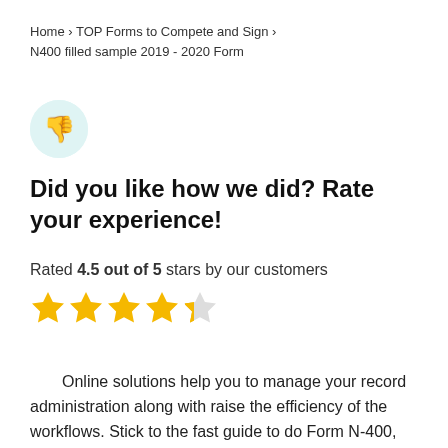Home › TOP Forms to Compete and Sign › N400 filled sample 2019 - 2020 Form
[Figure (illustration): Thumbs down emoji icon in a light teal circular background]
Did you like how we did? Rate your experience!
Rated 4.5 out of 5 stars by our customers
[Figure (infographic): 4.5 out of 5 gold stars rating — four full stars and one half star]
Online solutions help you to manage your record administration along with raise the efficiency of the workflows. Stick to the fast guide to do Form N-400, steer clear of blunders along with furnish it in a timely manner: